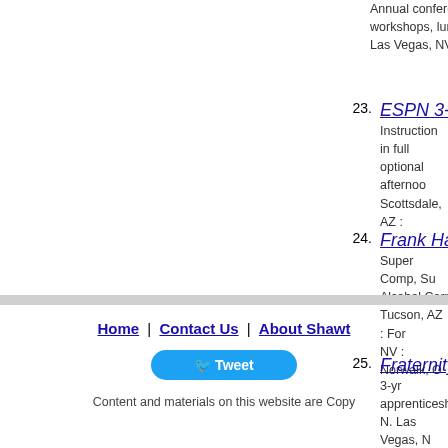Annual conference, workshops, luncheons, Las Vegas, NV
23. ESPN 3-Day — Instruction in full, optional afternoon, Scottsdale, AZ
24. Frank Hawle — Super Comp, Sur Alcohol.Corporal Tucson, AZ : For NV : Norwalk, O
25. Fraternity of — 3-yr apprenticesh N. Las Vegas, N
Home | Contact Us | About Shawt
Tweet
Content and materials on this website are Copy